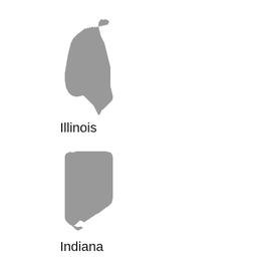[Figure (map): Silhouette map of the state of Illinois in gray]
Illinois
[Figure (map): Silhouette map of the state of Indiana in gray]
Indiana